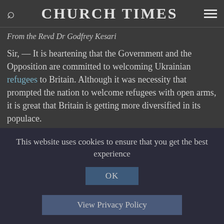CHURCH TIMES
From the Revd Dr Godfrey Kesari
Sir, — It is heartening that the Government and the Opposition are committed to welcoming Ukrainian refugees to Britain. Although it was necessity that prompted the nation to welcome refugees with open arms, it is great that Britain is getting more diversified in its populace.
This is another opportunity for churches, alongside aid agencies, to respond to humanitarian requirements relating to access, food, and non-food items, as well as social and
This website uses cookies to ensure that you get the best experience
OK
View Privacy Policy